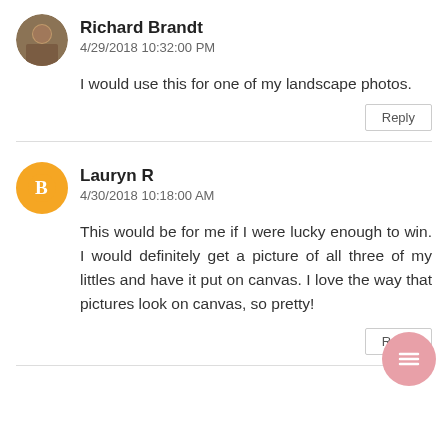Richard Brandt
4/29/2018 10:32:00 PM
I would use this for one of my landscape photos.
Reply
Lauryn R
4/30/2018 10:18:00 AM
This would be for me if I were lucky enough to win. I would definitely get a picture of all three of my littles and have it put on canvas. I love the way that pictures look on canvas, so pretty!
Reply